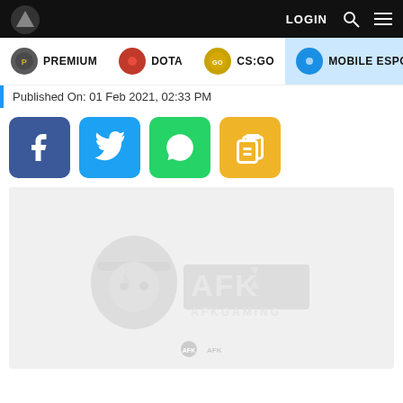LOGIN [search] [menu]
PREMIUM | DOTA | CS:GO | MOBILE ESPO>
Published On: 01 Feb 2021, 02:33 PM
[Figure (screenshot): Social share buttons: Facebook (blue), Twitter (light blue), WhatsApp (green), Copy/Clipboard (yellow)]
[Figure (logo): AFK Gaming logo placeholder on light grey background. Large AFK Gaming mascot logo (faded grey) with text AFKGaming. Small AFK logo at bottom.]